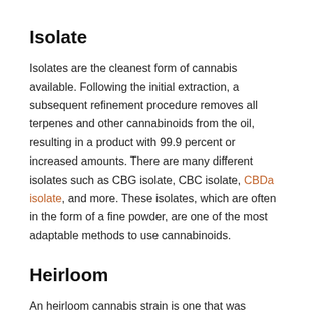Isolate
Isolates are the cleanest form of cannabis available. Following the initial extraction, a subsequent refinement procedure removes all terpenes and other cannabinoids from the oil, resulting in a product with 99.9 percent or increased amounts. There are many different isolates such as CBG isolate, CBC isolate, CBDa isolate, and more. These isolates, which are often in the form of a fine powder, are one of the most adaptable methods to use cannabinoids.
Heirloom
An heirloom cannabis strain is one that was transferred from its native homeland and cultivated in a different geographical region.